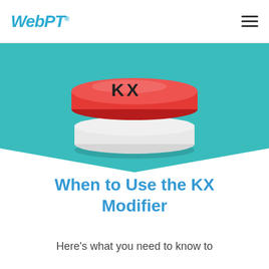WebPT
[Figure (illustration): A red KX button (pill-shaped red disk with 'KX' text) sitting on a white/gray cylindrical base, centered on a teal background with a white chevron at the bottom.]
When to Use the KX Modifier
Here’s what you need to know to